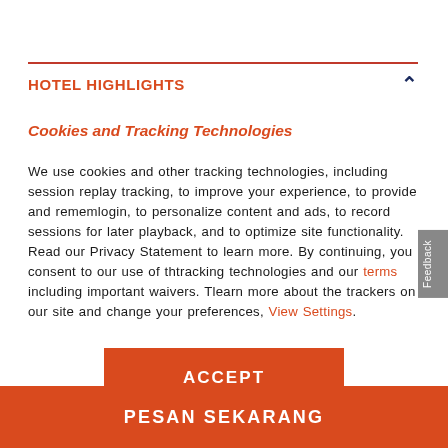HOTEL HIGHLIGHTS
Cookies and Tracking Technologies
We use cookies and other tracking technologies, including session replay tracking, to improve your experience, to provide and remember login, to personalize content and ads, to record sessions for later playback, and to optimize site functionality. Read our Privacy Statement to learn more. By continuing, you consent to our use of these tracking technologies and our terms including important waivers. To learn more about the trackers on our site and change your preferences, View Settings.
ACCEPT
PESAN SEKARANG